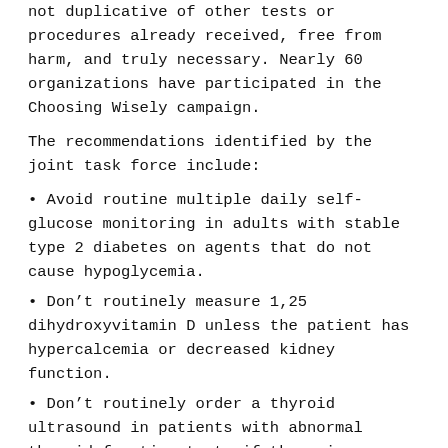not duplicative of other tests or procedures already received, free from harm, and truly necessary. Nearly 60 organizations have participated in the Choosing Wisely campaign.
The recommendations identified by the joint task force include:
Avoid routine multiple daily self-glucose monitoring in adults with stable type 2 diabetes on agents that do not cause hypoglycemia.
Don't routinely measure 1,25 dihydroxyvitamin D unless the patient has hypercalcemia or decreased kidney function.
Don't routinely order a thyroid ultrasound in patients with abnormal thyroid function tests if there is no palpable abnormality of the thyroid gland.
Don't order a total or free T3 level when assessing levothyroxine (T4) dose in hypothyroid patients.
Don't prescribe testosterone therapy unless there is